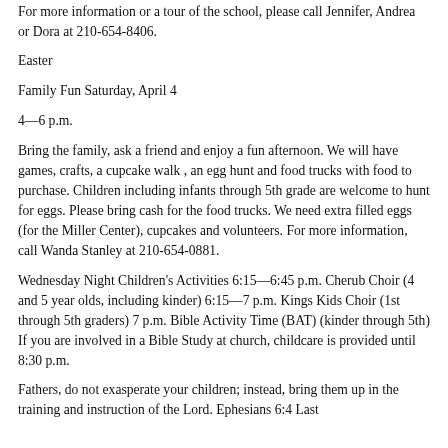For more information or a tour of the school, please call Jennifer, Andrea or Dora at 210-654-8406.
Easter
Family Fun Saturday, April 4
4—6 p.m.
Bring the family, ask a friend and enjoy a fun afternoon. We will have games, crafts, a cupcake walk , an egg hunt and food trucks with food to purchase. Children including infants through 5th grade are welcome to hunt for eggs. Please bring cash for the food trucks. We need extra filled eggs (for the Miller Center), cupcakes and volunteers. For more information, call Wanda Stanley at 210-654-0881.
Wednesday Night Children's Activities 6:15—6:45 p.m. Cherub Choir (4 and 5 year olds, including kinder) 6:15—7 p.m. Kings Kids Choir (1st through 5th graders) 7 p.m. Bible Activity Time (BAT) (kinder through 5th) If you are involved in a Bible Study at church, childcare is provided until 8:30 p.m.
Fathers, do not exasperate your children; instead, bring them up in the training and instruction of the Lord. Ephesians 6:4 Last